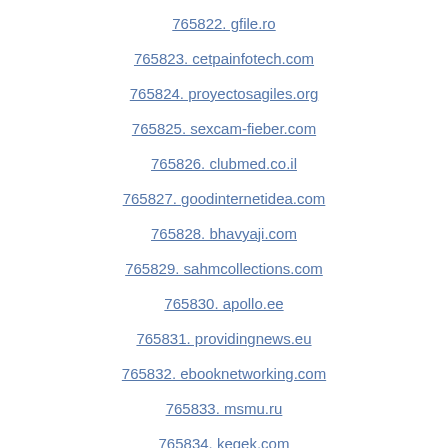765822. gfile.ro
765823. cetpainfotech.com
765824. proyectosagiles.org
765825. sexcam-fieber.com
765826. clubmed.co.il
765827. goodinternetidea.com
765828. bhavyaji.com
765829. sahmcollections.com
765830. apollo.ee
765831. providingnews.eu
765832. ebooknetworking.com
765833. msmu.ru
765834. kegek.com
765835. autreshop.com